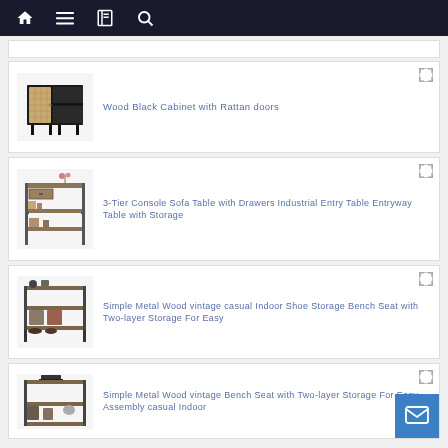Navigation bar with home, menu, book, and search icons
[Figure (screenshot): Empty white card/banner area at top]
[Figure (photo): Wood Black Cabinet with Rattan doors product image]
Wood Black Cabinet with Rattan doors
[Figure (photo): 3-Tier Console Sofa Table with Drawers Industrial Entry Table product image]
3-Tier Console Sofa Table with Drawers Industrial Entry Table Entryway Table with Storage
[Figure (photo): Simple Metal Wood vintage casual Indoor Shoe Storage Bench product image]
Simple Metal Wood vintage casual Indoor Shoe Storage Bench Seat with Two-layer Storage For Easy
[Figure (photo): Simple Metal Wood vintage Bench Seat with Two-layer Storage product image]
Simple Metal Wood vintage Bench Seat with Two-layer Storage For Easy Assembly casual Indoor